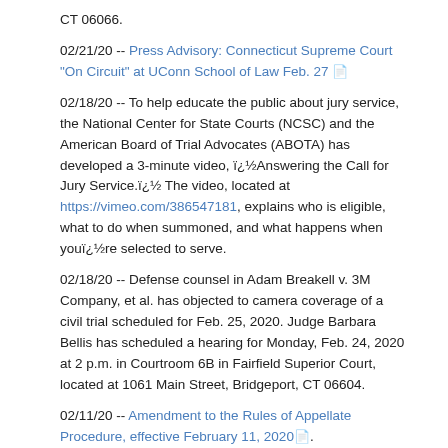CT 06066.
02/21/20 -- Press Advisory: Connecticut Supreme Court "On Circuit" at UConn School of Law Feb. 27 [PDF icon]
02/18/20 -- To help educate the public about jury service, the National Center for State Courts (NCSC) and the American Board of Trial Advocates (ABOTA) has developed a 3-minute video, i¿½Answering the Call for Jury Service.i¿½ The video, located at https://vimeo.com/386547181, explains who is eligible, what to do when summoned, and what happens when youi¿½re selected to serve.
02/18/20 -- Defense counsel in Adam Breakell v. 3M Company, et al. has objected to camera coverage of a civil trial scheduled for Feb. 25, 2020. Judge Barbara Bellis has scheduled a hearing for Monday, Feb. 24, 2020 at 2 p.m. in Courtroom 6B in Fairfield Superior Court, located at 1061 Main Street, Bridgeport, CT 06604.
02/11/20 -- Amendment to the Rules of Appellate Procedure, effective February 11, 2020 [PDF icon].
02/07/20 -- Order issued on Eugene Volokh's petition for review dated January 21, 2020, and the amended petition for review dated January 29,